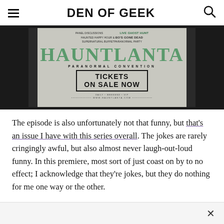DEN OF GEEK
[Figure (photo): Hauntlanta Paranormal Convention poster showing 'LIVE GHOST HUNT', 'BO'S GONE DEAD', 'TICKETS ON SALE NOW', and website WWW.HAUNTLANTA.COM, displayed against a dark background]
The episode is also unfortunately not that funny, but that's an issue I have with this series overall. The jokes are rarely cringingly awful, but also almost never laugh-out-loud funny. In this premiere, most sort of just coast on by to no effect; I acknowledge that they're jokes, but they do nothing for me one way or the other.